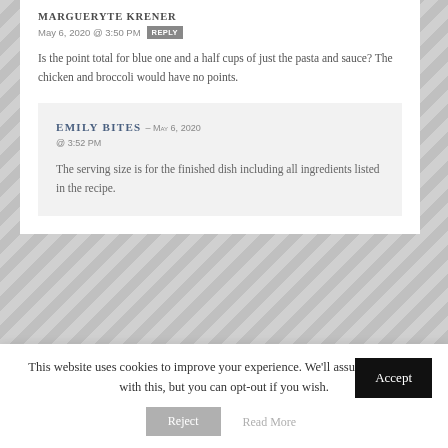MARGUERYTE KRENER — MAY 6, 2020 @ 3:50 PM REPLY
Is the point total for blue one and a half cups of just the pasta and sauce? The chicken and broccoli would have no points.
EMILY BITES — MAY 6, 2020 @ 3:52 PM
The serving size is for the finished dish including all ingredients listed in the recipe.
This website uses cookies to improve your experience. We'll assume you're ok with this, but you can opt-out if you wish.
Accept
Reject
Read More